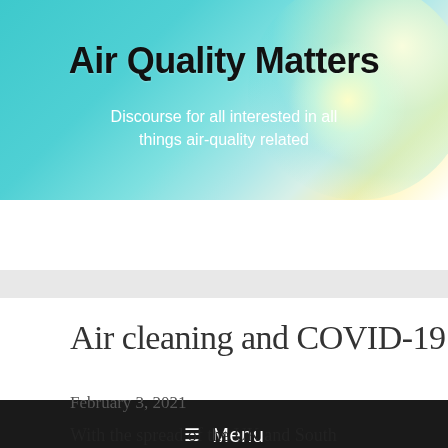Air Quality Matters
Discourse for all interested in all things air-quality related
☰ Menu
Air cleaning and COVID-19
February 3, 2021
With the spread of the UK and South African coronavirus variants to the U.S., with the concern